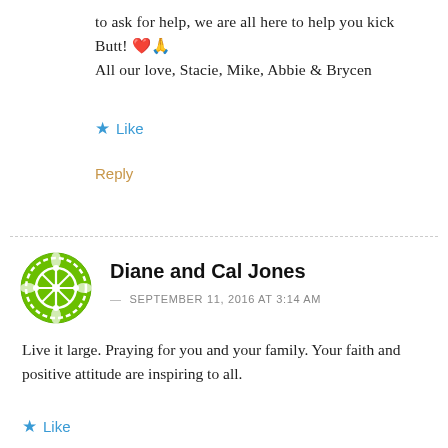to ask for help, we are all here to help you kick Butt! ❤️🙏
All our love, Stacie, Mike, Abbie & Brycen
★ Like
Reply
[Figure (illustration): Green circular logo/avatar with grid and leaf design for Diane and Cal Jones]
Diane and Cal Jones
— SEPTEMBER 11, 2016 AT 3:14 AM
Live it large. Praying for you and your family. Your faith and positive attitude are inspiring to all.
★ Like